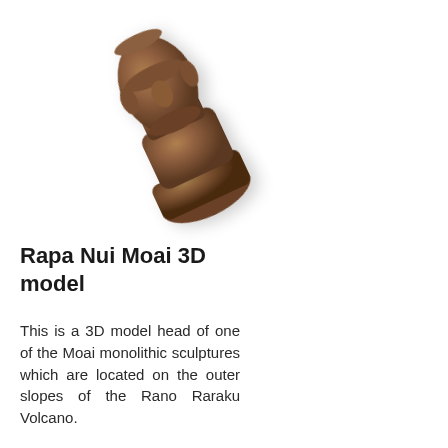[Figure (illustration): A 3D rendered model of a Rapa Nui Moai head sculpture, shown in a brownish-tan color, tilted at an angle. The model shows the characteristic elongated head, prominent brow, flat nose, and rectangular base/torso of the famous Easter Island stone statues.]
Rapa Nui Moai 3D model
This is a 3D model head of one of the Moai monolithic sculptures which are located on the outer slopes of the Rano Raraku Volcano.